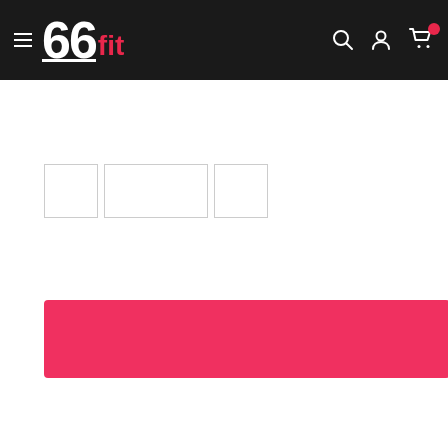[Figure (screenshot): 66fit website header with dark background, hamburger menu icon, 66fit logo in white and red, and icons for search, account, and cart on the right]
[Figure (screenshot): Three thumbnail image boxes partially visible below header]
[Figure (screenshot): Pink/red rectangular banner button]
[Figure (screenshot): Carbon neutral delivery card with green leaf logo, text 'All deliveries are carbon neutral', 'Powered by Shopify Planet', and a black square logo below]